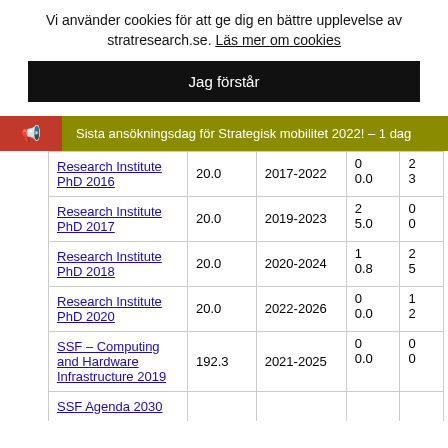Vi använder cookies för att ge dig en bättre upplevelse av stratresearch.se. Läs mer om cookies
Jag förstår
Sista ansökningsdag för Strategisk mobilitet 2022! – 1 dag
|  |  |  |  |  |
| --- | --- | --- | --- | --- |
| Research Institute PhD 2016 | 20.0 | 2017-2022 | 0
0.0 | 2
3 |
| Research Institute PhD 2017 | 20.0 | 2019-2023 | 2
5.0 | 0
0 |
| Research Institute PhD 2018 | 20.0 | 2020-2024 | 1
0.8 | 2
5 |
| Research Institute PhD 2020 | 20.0 | 2022-2026 | 0
0.0 | 1
2 |
| SSF – Computing and Hardware Infrastructure 2019 | 192.3 | 2021-2025 | 0
0.0 | 0
0 |
| SSF Agenda 2030 |  |  |  |  |